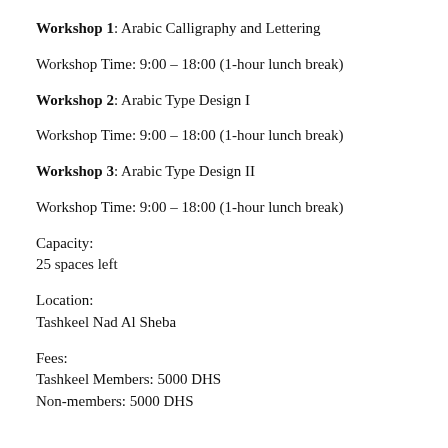Workshop 1: Arabic Calligraphy and Lettering
Workshop Time: 9:00 – 18:00 (1-hour lunch break)
Workshop 2: Arabic Type Design I
Workshop Time: 9:00 – 18:00 (1-hour lunch break)
Workshop 3: Arabic Type Design II
Workshop Time: 9:00 – 18:00 (1-hour lunch break)
Capacity:
25 spaces left
Location:
Tashkeel Nad Al Sheba
Fees:
Tashkeel Members: 5000 DHS
Non-members: 5000 DHS